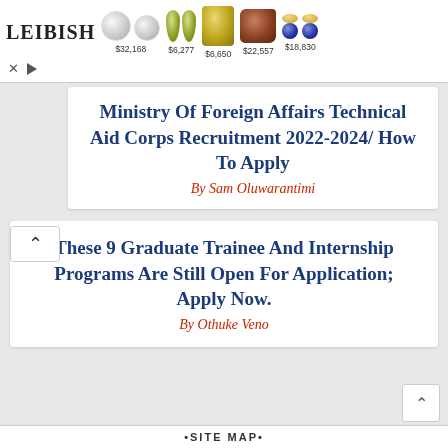[Figure (advertisement): Leibish jewelry ad banner showing gemstones with prices: $32,168, $6,277, $6,650, $22,557, $18,830]
Ministry Of Foreign Affairs Technical Aid Corps Recruitment 2022-2024/ How To Apply
By Sam Oluwarantimi
These 9 Graduate Trainee And Internship Programs Are Still Open For Application; Apply Now.
By Othuke Veno
SITE MAP